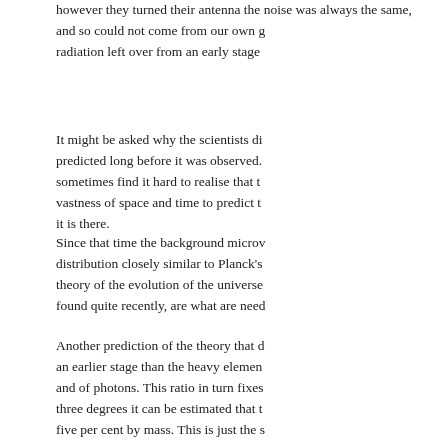however they turned their antenna the noise was always the same, and so could not come from our own galaxy. It must be background radiation left over from an early stage
It might be asked why the scientists did not look for what was predicted long before it was observed. We sometimes find it hard to realise that the laws of physics allow the vastness of space and time to predict things, and then to find it is there.
Since that time the background microwave radiation has been found to have a distribution closely similar to Planck's law, and this and its small irregularities are most important for the theory of the evolution of the universe. The small irregularities, found quite recently, are what are needed.
Another prediction of the theory that can be checked is that hydrogen was formed at an earlier stage than the heavy elements; it is formed from the ratio of nuclear particles and of photons. This ratio in turn fixes the temperature of the background at three degrees it can be estimated that the primordial helium abundance should be twenty to twenty five per cent by mass. This is just the s
It is worth noting at this stage the extraordinary fact that the ratio of nuclear particles to photons, essentially the same thing as the ratio of number of neutrons and protons will r found then will allow to t